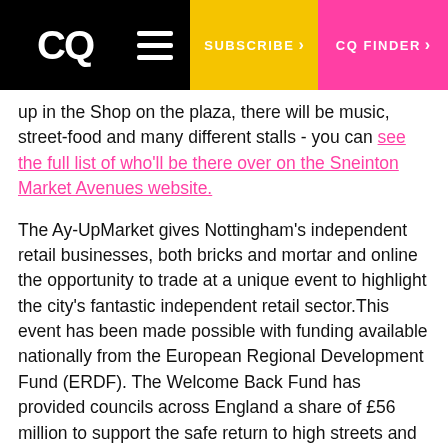CQ | SUBSCRIBE > | CQ FINDER >
up in the Shop on the plaza, there will be music, street-food and many different stalls - you can see the full list of who'll be there over on the Sneinton Market Avenues website.
The Ay-UpMarket gives Nottingham's independent retail businesses, both bricks and mortar and online the opportunity to trade at a unique event to highlight the city's fantastic independent retail sector.This event has been made possible with funding available nationally from the European Regional Development Fund (ERDF). The Welcome Back Fund has provided councils across England a share of £56 million to support the safe return to high streets and help build back better from the pandemic.